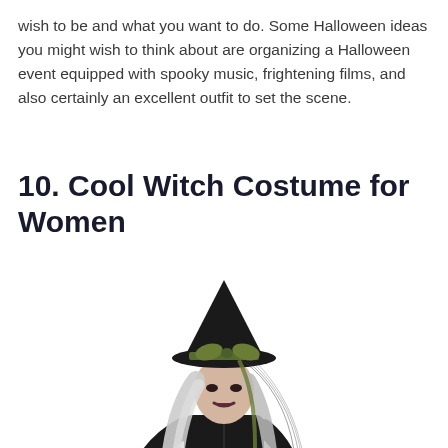wish to be and what you want to do. Some Halloween ideas you might wish to think about are organizing a Halloween event equipped with spooky music, frightening films, and also certainly an excellent outfit to set the scene.
10. Cool Witch Costume for Women
[Figure (photo): A woman dressed in a witch costume with a tall black pointy hat adorned with an olive green bow/ribbon and black netting veil, long white/silver hair, dark makeup, black outfit, holding a small decorative pumpkin in one hand with black gloves.]